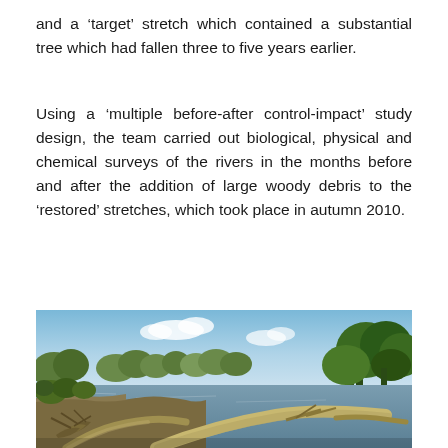and a ‘target’ stretch which contained a substantial tree which had fallen three to five years earlier.
Using a ‘multiple before-after control-impact’ study design, the team carried out biological, physical and chemical surveys of the rivers in the months before and after the addition of large woody debris to the ‘restored’ stretches, which took place in autumn 2010.
[Figure (photo): Photograph of a river scene showing fallen trees and large woody debris in the water, with green trees and shrubs lining the banks and a partly cloudy blue sky above.]